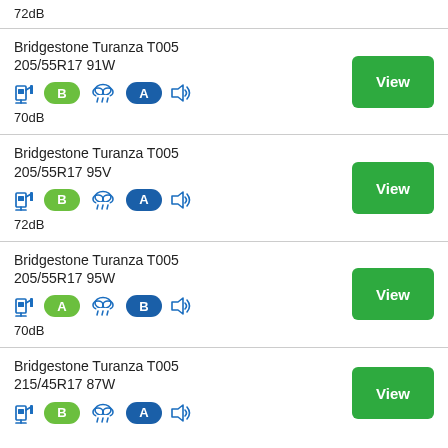72dB
Bridgestone Turanza T005 205/55R17 91W — fuel: B, wet: A, 70dB
Bridgestone Turanza T005 205/55R17 95V — fuel: B, wet: A, 72dB
Bridgestone Turanza T005 205/55R17 95W — fuel: A, wet: B, 70dB
Bridgestone Turanza T005 215/45R17 87W — fuel: B, wet: A